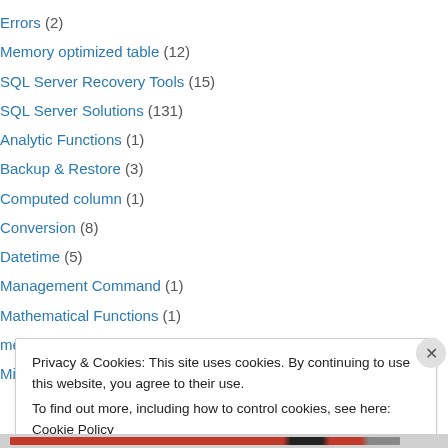Errors (2)
Memory optimized table (12)
SQL Server Recovery Tools (15)
SQL Server Solutions (131)
Analytic Functions (1)
Backup & Restore (3)
Computed column (1)
Conversion (8)
Datetime (5)
Management Command (1)
Mathematical Functions (1)
metadata (1)
Misc (6)
Privacy & Cookies: This site uses cookies. By continuing to use this website, you agree to their use. To find out more, including how to control cookies, see here: Cookie Policy
Close and accept